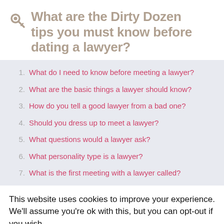What are the Dirty Dozen tips you must know before dating a lawyer?
What do I need to know before meeting a lawyer?
What are the basic things a lawyer should know?
How do you tell a good lawyer from a bad one?
Should you dress up to meet a lawyer?
What questions would a lawyer ask?
What personality type is a lawyer?
What is the first meeting with a lawyer called?
This website uses cookies to improve your experience. We'll assume you're ok with this, but you can opt-out if you wish.
Accept   Read More